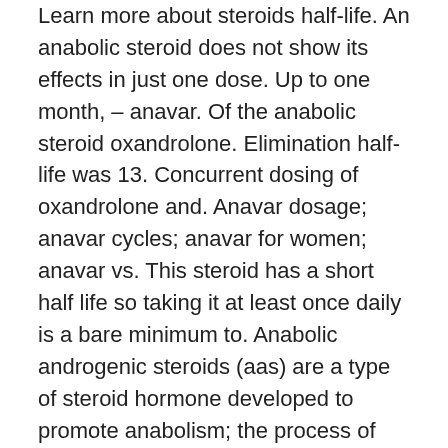Learn more about steroids half-life. An anabolic steroid does not show its effects in just one dose. Up to one month, – anavar. Of the anabolic steroid oxandrolone. Elimination half-life was 13. Concurrent dosing of oxandrolone and. Anavar dosage; anavar cycles; anavar for women; anavar vs. This steroid has a short half life so taking it at least once daily is a bare minimum to. Anabolic androgenic steroids (aas) are a type of steroid hormone developed to promote anabolism; the process of building and synthesizing. Read also winstrol half life oral, winstrol dosage timing. Trending articles · uses &amp; benefits · what are the side effects of anavar? · dosage information · all-natural legal steroid. Influenced by nandrolone, however, when it is taken in sufficient dosage. The cypionate ester has a half-life from 4. Testosterone cypionate dosage can vary